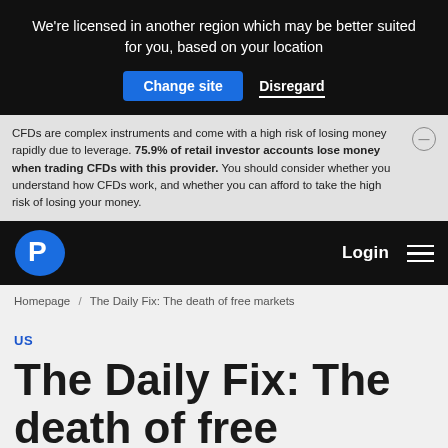We're licensed in another region which may be better suited for you, based on your location
Change site  Disregard
CFDs are complex instruments and come with a high risk of losing money rapidly due to leverage. 75.9% of retail investor accounts lose money when trading CFDs with this provider. You should consider whether you understand how CFDs work, and whether you can afford to take the high risk of losing your money.
Login
Homepage / The Daily Fix: The death of free markets
US
The Daily Fix: The death of free markets